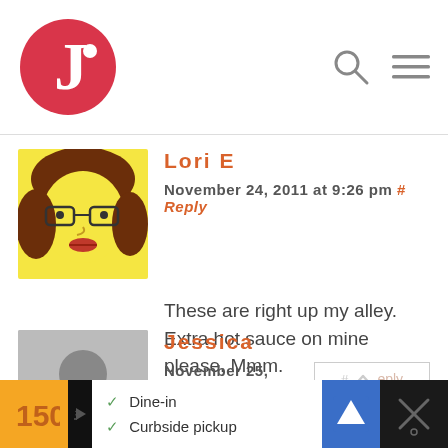J logo with search and menu icons
[Figure (illustration): Cartoon avatar of Lori E - woman with brown curly hair and glasses on yellow face]
Lori E
November 24, 2011 at 9:26 pm # Reply
These are right up my alley. Extra hot sauce on mine please. Mmm.
[Figure (illustration): Gray silhouette placeholder avatar for Jessica]
Jessica
November 25, 2011 at 2:43 am # Reply
Those look outstanding....and there's a bakery 1.5 blocks away from where we live now where I can
Ad bar: Dine-in, Curbside pickup